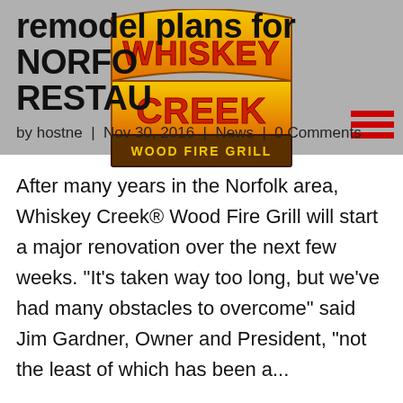remodel plans for NORFOLK RESTAURANT
[Figure (logo): Whiskey Creek Wood Fire Grill logo with Western-style text in orange/yellow/red gradient]
by hostne | Nov 30, 2016 | News | 0 Comments
After many years in the Norfolk area, Whiskey Creek® Wood Fire Grill will start a major renovation over the next few weeks. "It's taken way too long, but we've had many obstacles to overcome" said Jim Gardner, Owner and President, "not the least of which has been a..."